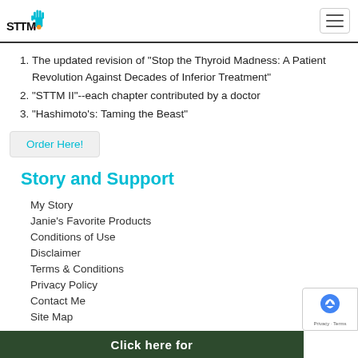STTM logo and navigation
The updated revision of "Stop the Thyroid Madness: A Patient Revolution Against Decades of Inferior Treatment"
"STTM II"--each chapter contributed by a doctor
"Hashimoto's: Taming the Beast"
Order Here!
Story and Support
My Story
Janie's Favorite Products
Conditions of Use
Disclaimer
Terms & Conditions
Privacy Policy
Contact Me
Site Map
[Figure (screenshot): reCAPTCHA privacy badge in bottom right corner]
[Figure (photo): Dark green tropical foliage background with white text 'Click here for']